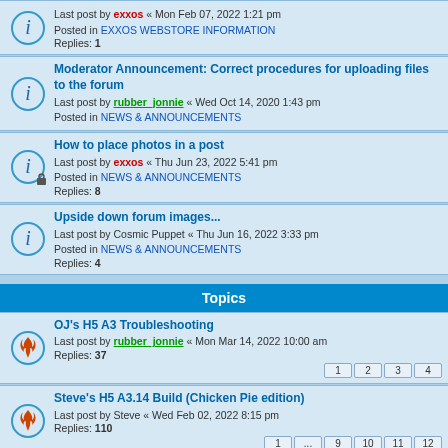Last post by exxos « Mon Feb 07, 2022 1:21 pm
Posted in EXXOS WEBSTORE INFORMATION
Replies: 1
Moderator Announcement: Correct procedures for uploading files to the forum
Last post by rubber_jonnie « Wed Oct 14, 2020 1:43 pm
Posted in NEWS & ANNOUNCEMENTS
How to place photos in a post
Last post by exxos « Thu Jun 23, 2022 5:41 pm
Posted in NEWS & ANNOUNCEMENTS
Replies: 8
Upside down forum images...
Last post by Cosmic Puppet « Thu Jun 16, 2022 3:33 pm
Posted in NEWS & ANNOUNCEMENTS
Replies: 4
Topics
OJ's H5 A3 Troubleshooting
Last post by rubber_jonnie « Mon Mar 14, 2022 10:00 am
Replies: 37
Pages: 1 2 3 4
Steve's H5 A3.14 Build (Chicken Pie edition)
Last post by Steve « Wed Feb 02, 2022 8:15 pm
Replies: 110
Pages: 1 ... 9 10 11 12
Quick questions on H5
Last post by exxos « Wed Feb 24, 2021 1:39 am
Replies: 3
kodak80 H5 A3 builds